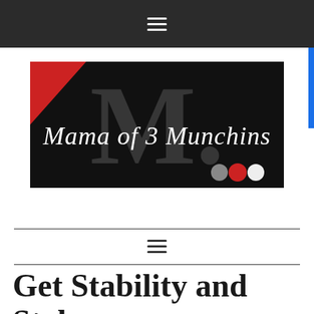☰
[Figure (logo): Mama of 3 Munchins blog logo — black background with large gray letter M, script text 'Mama of 3 Munchins' in white, red diagonal stripe top left, three colored circles (gray, red, white) bottom right]
Get Stability and Style